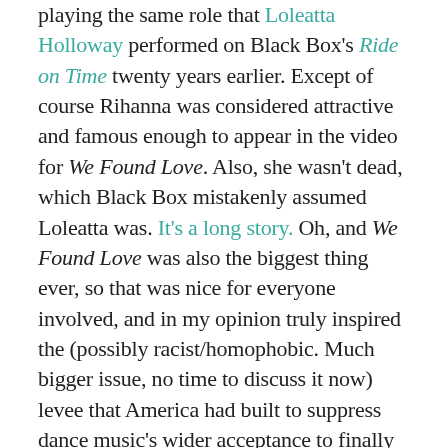playing the same role that Loleatta Holloway performed on Black Box's Ride on Time twenty years earlier. Except of course Rihanna was considered attractive and famous enough to appear in the video for We Found Love. Also, she wasn't dead, which Black Box mistakenly assumed Loleatta was. It's a long story. Oh, and We Found Love was also the biggest thing ever, so that was nice for everyone involved, and in my opinion truly inspired the (possibly racist/homophobic. Much bigger issue, no time to discuss it now) levee that America had built to suppress dance music's wider acceptance to finally break, and the outpouring still continues to this